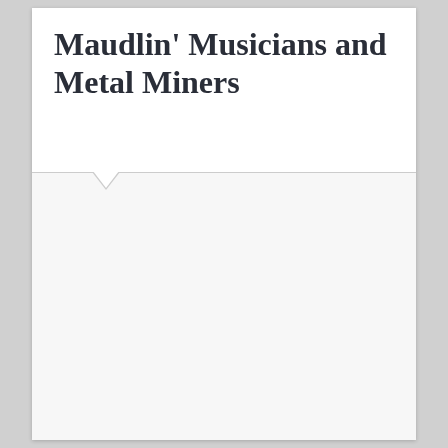Maudlin' Musicians and Metal Miners